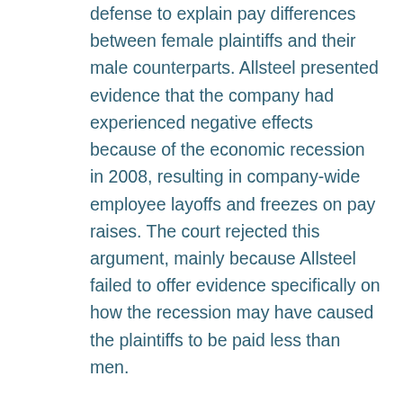defense to explain pay differences between female plaintiffs and their male counterparts. Allsteel presented evidence that the company had experienced negative effects because of the economic recession in 2008, resulting in company-wide employee layoffs and freezes on pay raises. The court rejected this argument, mainly because Allsteel failed to offer evidence specifically on how the recession may have caused the plaintiffs to be paid less than men.

For additional information on this case, click here.